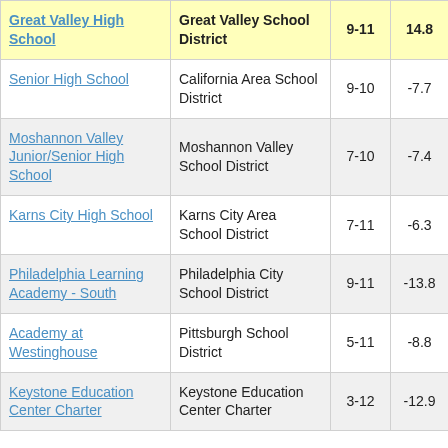| School | District | Grades | Value |
| --- | --- | --- | --- |
| Great Valley High School | Great Valley School District | 9-11 | 14.8 |
| Senior High School | California Area School District | 9-10 | -7.7 |
| Moshannon Valley Junior/Senior High School | Moshannon Valley School District | 7-10 | -7.4 |
| Karns City High School | Karns City Area School District | 7-11 | -6.3 |
| Philadelphia Learning Academy - South | Philadelphia City School District | 9-11 | -13.8 |
| Academy at Westinghouse | Pittsburgh School District | 5-11 | -8.8 |
| Keystone Education Center Charter | Keystone Education Center Charter | 3-12 | -12.9 |